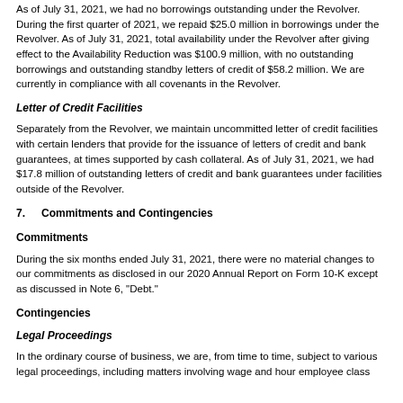As of July 31, 2021, we had no borrowings outstanding under the Revolver. During the first quarter of 2021, we repaid $25.0 million in borrowings under the Revolver. As of July 31, 2021, total availability under the Revolver after giving effect to the Availability Reduction was $100.9 million, with no outstanding borrowings and outstanding standby letters of credit of $58.2 million. We are currently in compliance with all covenants in the Revolver.
Letter of Credit Facilities
Separately from the Revolver, we maintain uncommitted letter of credit facilities with certain lenders that provide for the issuance of letters of credit and bank guarantees, at times supported by cash collateral. As of July 31, 2021, we had $17.8 million of outstanding letters of credit and bank guarantees under facilities outside of the Revolver.
7.    Commitments and Contingencies
Commitments
During the six months ended July 31, 2021, there were no material changes to our commitments as disclosed in our 2020 Annual Report on Form 10-K except as discussed in Note 6, "Debt."
Contingencies
Legal Proceedings
In the ordinary course of business, we are, from time to time, subject to various legal proceedings, including matters involving wage and hour employee class